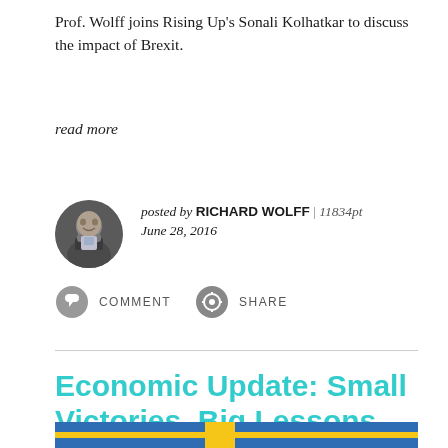Prof. Wolff joins Rising Up's Sonali Kolhatkar to discuss the impact of Brexit.
read more
posted by RICHARD WOLFF | 11834pt
June 28, 2016
COMMENT   SHARE
Economic Update: Small Victories, Big Lessons
[Figure (photo): Bottom portion of a flag (Swedish flag colors — blue background with yellow cross) against a blue sky]